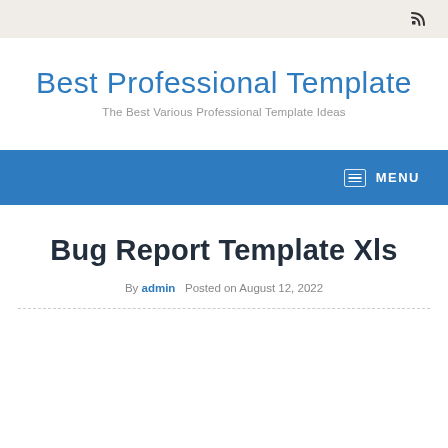RSS icon / feed
Best Professional Template
The Best Various Professional Template Ideas
MENU
Bug Report Template Xls
By admin   Posted on August 12, 2022